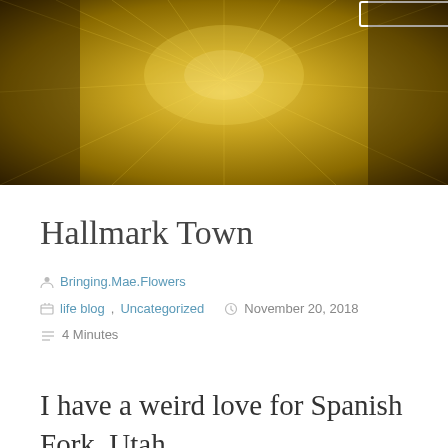[Figure (photo): Hero image showing a warm yellow-toned tunnel or corridor with radial blur effect giving a perspective vanishing point look. A rectangular white-bordered box/button is partially visible at the top center.]
Hallmark Town
Bringing.Mae.Flowers
life blog, Uncategorized   November 20, 2018
4 Minutes
I have a weird love for Spanish Fork, Utah.